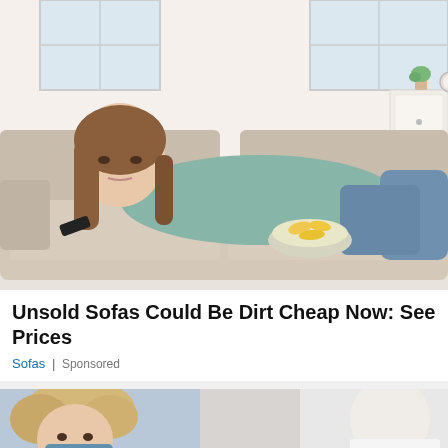[Figure (photo): Woman in teal/mint sweater lying on a beige sofa, holding a TV remote, with a bowl of chips, in a bright living room setting]
Unsold Sofas Could Be Dirt Cheap Now: See Prices
Sofas | Sponsored
[Figure (photo): Partial photo showing a person with curly blonde hair and a medical/surgical mask, with another figure in white coat visible at right edge — bottom of page]